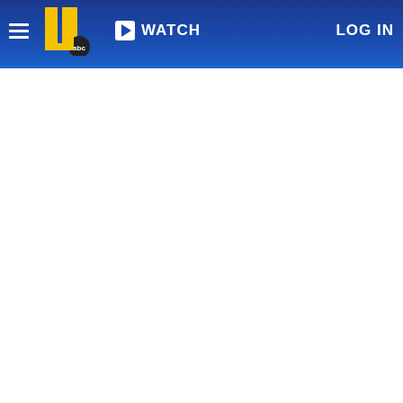WATCH  LOG IN
[Figure (logo): WTVD ABC11 news channel logo with yellow '11' and abc badge, navigation bar with hamburger menu, WATCH button, and LOG IN button on dark blue background]